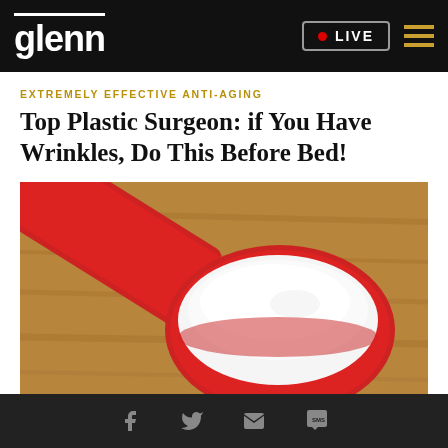glenn   • LIVE
EXTREMELY EFFECTIVE ANTI-AGING
Top Plastic Surgeon: if You Have Wrinkles, Do This Before Bed!
[Figure (photo): A red measuring spoon heaped with white powder, resting on a wooden surface.]
Social icons: Facebook, Twitter, Email, SMS